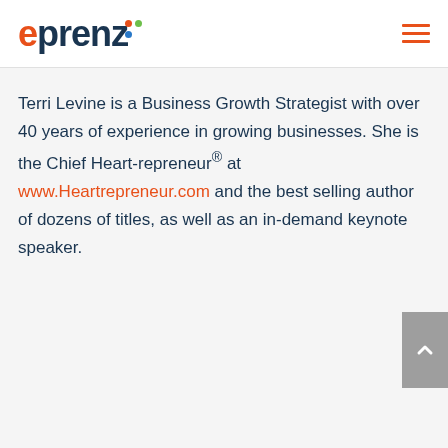eprenz
Terri Levine is a Business Growth Strategist with over 40 years of experience in growing businesses. She is the Chief Heart-repreneur® at www.Heartrepreneur.com and the best selling author of dozens of titles, as well as an in-demand keynote speaker.